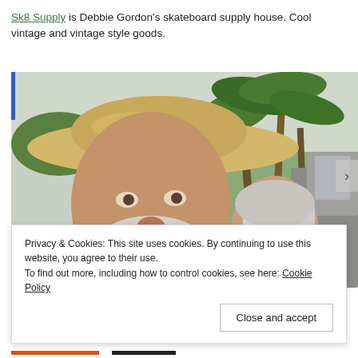Sk8 Supply is Debbie Gordon's skateboard supply house. Cool vintage and vintage style goods.
[Figure (photo): Two people outdoors near a car with palm trees in the background. The man wears a wide-brimmed straw hat and has a white beard; a woman with long white hair stands beside him.]
Privacy & Cookies: This site uses cookies. By continuing to use this website, you agree to their use.
To find out more, including how to control cookies, see here: Cookie Policy
Close and accept